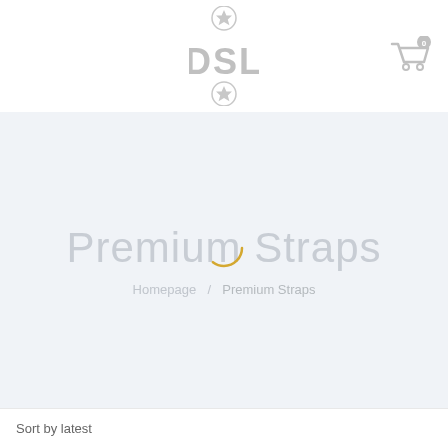[Figure (logo): DSL logo with star above and star below, light gray color]
[Figure (other): Shopping cart icon with badge showing 0]
Premium Straps
Homepage / Premium Straps
Sort by latest